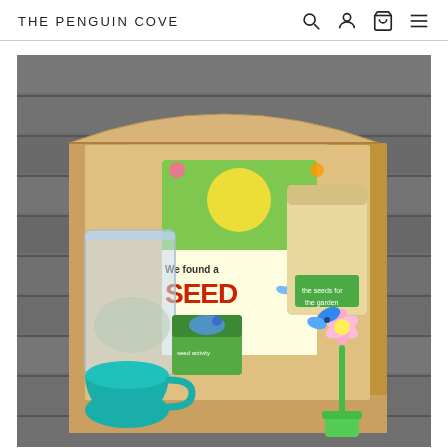THE PENGUIN COVE
[Figure (photo): An open cardboard box on a wooden deck surface, containing a children's book titled 'We found a SEED', a kraft paper bag with a green label, a clear resealable plastic bag, a small green box with a bird image, a teal/turquoise cup or pot, and a decorative flower with blue and pink petals on a green stem.]